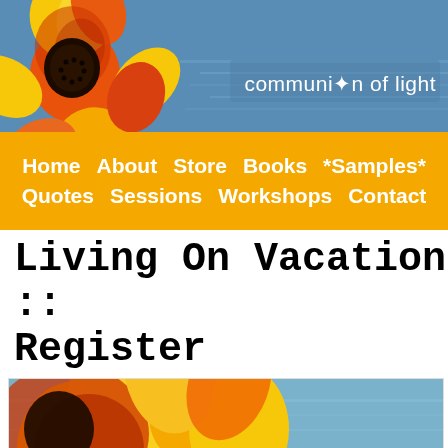[Figure (illustration): Website header banner with orange/red/yellow flower on left, blue water background on right, and 'communion of light' brand text in white]
communion of light
[Figure (infographic): Orange navigation bar with white bold links: Home About Store Books *Samples* Quotes Sessions Workshops Contact]
Living On Vacation :: Register
[Figure (photo): Close-up photo of orange and yellow flower petals on left with blue water/sky background on right, partially visible at bottom of page]